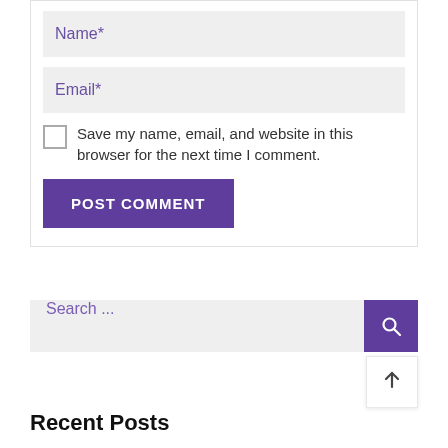Name*
Email*
Save my name, email, and website in this browser for the next time I comment.
POST COMMENT
Search ...
Recent Posts